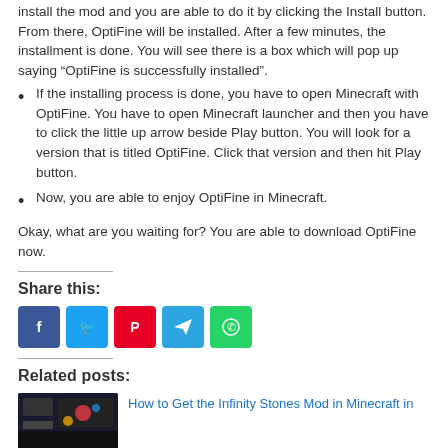install the mod and you are able to do it by clicking the Install button. From there, OptiFine will be installed. After a few minutes, the installment is done. You will see there is a box which will pop up saying “OptiFine is successfully installed”.
If the installing process is done, you have to open Minecraft with OptiFine. You have to open Minecraft launcher and then you have to click the little up arrow beside Play button. You will look for a version that is titled OptiFine. Click that version and then hit Play button.
Now, you are able to enjoy OptiFine in Minecraft.
Okay, what are you waiting for? You are able to download OptiFine now.
Share this:
[Figure (infographic): Social share buttons: Facebook (blue), Twitter (light blue), Pinterest (red), Telegram (blue), WhatsApp (green)]
Related posts:
[Figure (photo): Thumbnail image for related post about Infinity Stones Mod in Minecraft]
How to Get the Infinity Stones Mod in Minecraft in